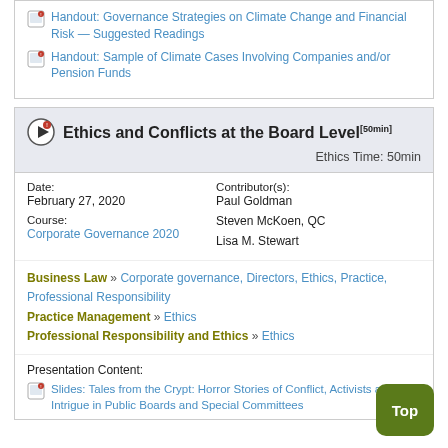Handout: Governance Strategies on Climate Change and Financial Risk — Suggested Readings
Handout: Sample of Climate Cases Involving Companies and/or Pension Funds
Ethics and Conflicts at the Board Level [50min]
Ethics Time: 50min
Date: February 27, 2020
Contributor(s): Paul Goldman, Steven McKoen, QC, Lisa M. Stewart
Course: Corporate Governance 2020
Business Law » Corporate governance, Directors, Ethics, Practice, Professional Responsibility
Practice Management » Ethics
Professional Responsibility and Ethics » Ethics
Presentation Content:
Slides: Tales from the Crypt: Horror Stories of Conflict, Activists and Intrigue in Public Boards and Special Committees